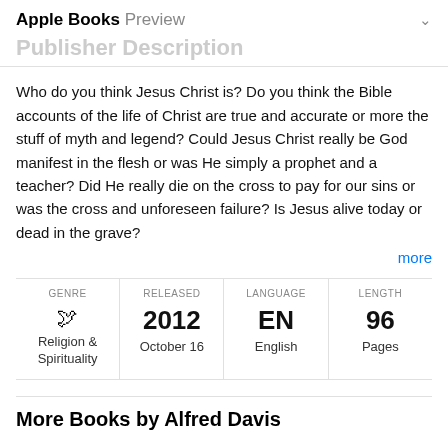Apple Books Preview
Publisher Description
Who do you think Jesus Christ is? Do you think the Bible accounts of the life of Christ are true and accurate or more the stuff of myth and legend? Could Jesus Christ really be God manifest in the flesh or was He simply a prophet and a teacher? Did He really die on the cross to pay for our sins or was the cross and unforeseen failure? Is Jesus alive today or dead in the grave?
more
| GENRE | RELEASED | LANGUAGE | LENGTH |
| --- | --- | --- | --- |
| Religion & Spirituality | 2012 October 16 | EN English | 96 Pages |
More Books by Alfred Davis